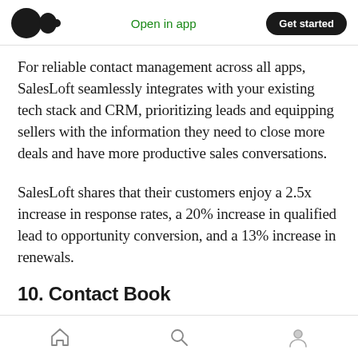Open in app  Get started
For reliable contact management across all apps, SalesLoft seamlessly integrates with your existing tech stack and CRM, prioritizing leads and equipping sellers with the information they need to close more deals and have more productive sales conversations.
SalesLoft shares that their customers enjoy a 2.5x increase in response rates, a 20% increase in qualified lead to opportunity conversion, and a 13% increase in renewals.
10. Contact Book
Home  Search  Profile